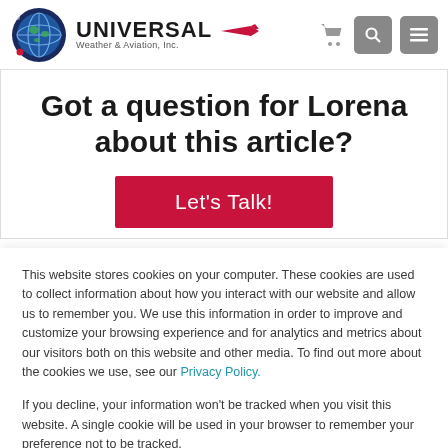[Figure (logo): Universal Weather & Aviation, Inc. logo with globe icon and airplane]
Got a question for Lorena about this article?
Let's Talk!
This website stores cookies on your computer. These cookies are used to collect information about how you interact with our website and allow us to remember you. We use this information in order to improve and customize your browsing experience and for analytics and metrics about our visitors both on this website and other media. To find out more about the cookies we use, see our Privacy Policy.
If you decline, your information won't be tracked when you visit this website. A single cookie will be used in your browser to remember your preference not to be tracked.
Accept
Decline